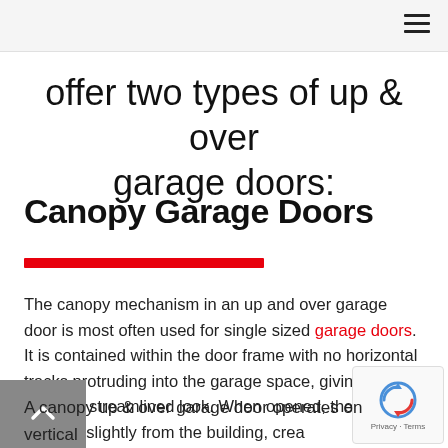≡
offer two types of up & over garage doors:
Canopy Garage Doors
The canopy mechanism in an up and over garage door is most often used for single sized garage doors. It is contained within the door frame with no horizontal tracks protruding into the garage space, giving it a modern, streamlined look. When opened, the door extends slightly from the building, creating a 'canopy'.
A canopy up & over garage door operates on vertical